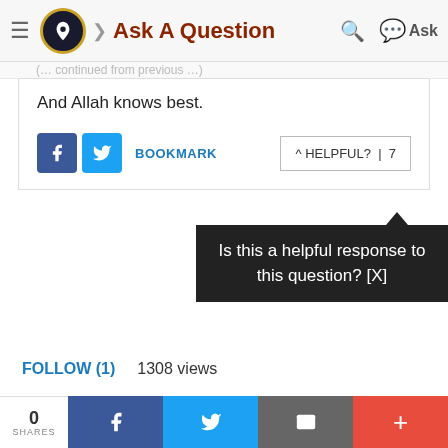Ask A Question
And Allah knows best.
BOOKMARK   ^ HELPFUL? | 7
[Figure (screenshot): Tooltip popup reading: Is this a helpful response to this question? [X]]
FOLLOW (1)   1308 views
About Al-Islam.org   Contact Us   FAQs   Support Us   Fatiha Appeal   Facebook   Twitter   Privacy policy
© Ahlul Bayt Digital Islamic Library Project 1995-2022
0 SHARES  [Facebook] [Twitter] [Email] [+]